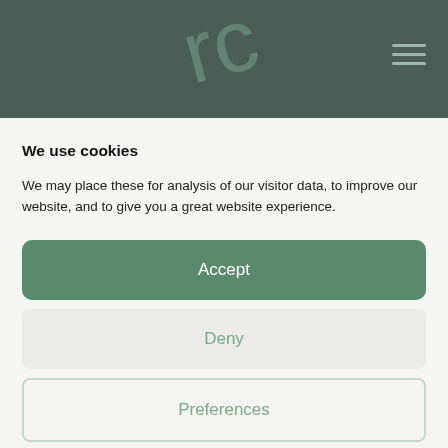[Figure (logo): Dark teal header bar with a decorative rotated logo mark in lighter teal and a hamburger menu icon on the right]
We use cookies
We may place these for analysis of our visitor data, to improve our website, and to give you a great website experience.
Accept
Deny
Preferences
Cookies and Privacy Policy